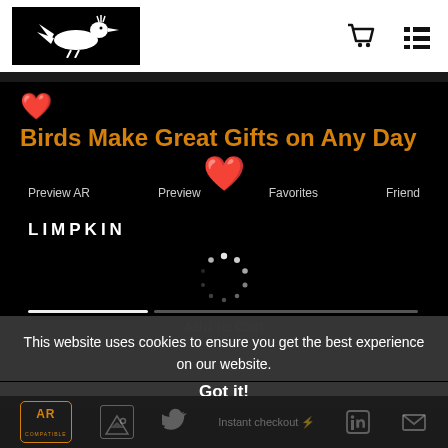[Logo: roadrunner bird on black background] [Cart icon] [Menu icon]
❤️ Birds Make Great Gifts on Any Day ❤️
Preview AR    Preview    Favorites    Friend
LIMPKIN
[Figure (other): Loading spinner (circular dotted progress indicator)]
Add to Cart
This website uses cookies to ensure you get the best experience on our website.
Got it!
AR COMPATIBLE | image icon | Twitter | Instant checkout ⚡ | LinkedIn | Email